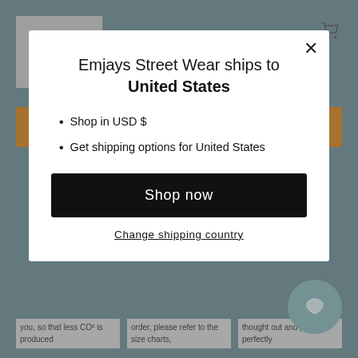[Figure (screenshot): Website background with teal/steel-blue header, logo placeholder in top-left, orange button strips, and partial page content at the bottom.]
Emjays Street Wear ships to United States
Shop in USD $
Get shipping options for United States
Shop now
Change shipping country